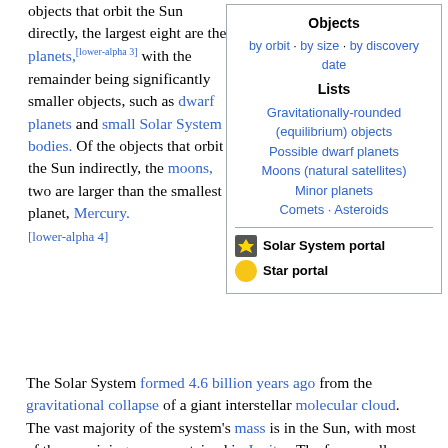objects that orbit the Sun directly, the largest eight are the planets,[lower-alpha 3] with the remainder being significantly smaller objects, such as dwarf planets and small Solar System bodies. Of the objects that orbit the Sun indirectly, the moons, two are larger than the smallest planet, Mercury.[lower-alpha 4]
| Objects |
| --- |
| by orbit · by size · by discovery date |
| Lists |
| Gravitationally-rounded (equilibrium) objects |
| Possible dwarf planets |
| Moons (natural satellites) |
| Minor planets |
| Comets · Asteroids |
| Solar System portal |
| Star portal |
The Solar System formed 4.6 billion years ago from the gravitational collapse of a giant interstellar molecular cloud. The vast majority of the system's mass is in the Sun, with most of the remaining mass contained in Jupiter. The four smaller inner planets, Mercury, Venus, Earth and Mars, are terrestrial planets, being primarily composed of rock and metal. The four outer planets are giant planets, being substantially more massive than the terrestrials. The two largest, Jupiter and Saturn,